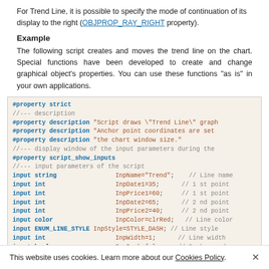For Trend Line, it is possible to specify the mode of continuation of its display to the right (OBJPROP_RAY_RIGHT property).
Example
The following script creates and moves the trend line on the chart. Special functions have been developed to create and change graphical object's properties. You can use these functions "as is" in your own applications.
[Figure (screenshot): Code block showing MQL5 script with #property directives and input parameter declarations for a Trend Line script]
This website uses cookies. Learn more about our Cookies Policy. ×